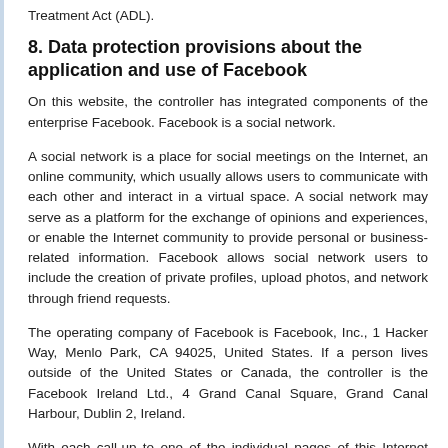Treatment Act (ADL).
8. Data protection provisions about the application and use of Facebook
On this website, the controller has integrated components of the enterprise Facebook. Facebook is a social network.
A social network is a place for social meetings on the Internet, an online community, which usually allows users to communicate with each other and interact in a virtual space. A social network may serve as a platform for the exchange of opinions and experiences, or enable the Internet community to provide personal or business-related information. Facebook allows social network users to include the creation of private profiles, upload photos, and network through friend requests.
The operating company of Facebook is Facebook, Inc., 1 Hacker Way, Menlo Park, CA 94025, United States. If a person lives outside of the United States or Canada, the controller is the Facebook Ireland Ltd., 4 Grand Canal Square, Grand Canal Harbour, Dublin 2, Ireland.
With each call-up to one of the individual pages of this Internet website, which is operated by the controller, and